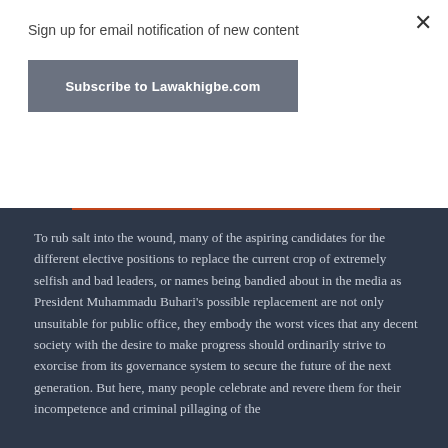Sign up for email notification of new content
Subscribe to Lawakhigbe.com
REPORT THIS AD
To rub salt into the wound, many of the aspiring candidates for the different elective positions to replace the current crop of extremely selfish and bad leaders, or names being bandied about in the media as President Muhammadu Buhari's possible replacement are not only unsuitable for public office, they embody the worst vices that any decent society with the desire to make progress should ordinarily strive to exorcise from its governance system to secure the future of the next generation. But here, many people celebrate and revere them for their incompetence and criminal pillaging of the